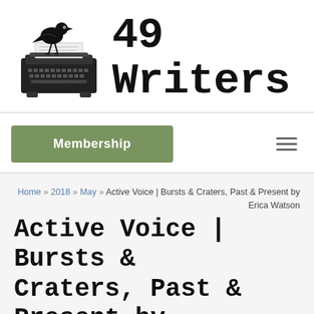[Figure (logo): 49 Writers logo: a raven perched on a vintage typewriter, black ink illustration, with the text '49 Writers' in large typewriter-style font beside it]
49 Writers
Membership
Home » 2018 » May » Active Voice | Bursts & Craters, Past & Present by Erica Watson
Active Voice | Bursts & Craters, Past & Present by Erica Watson